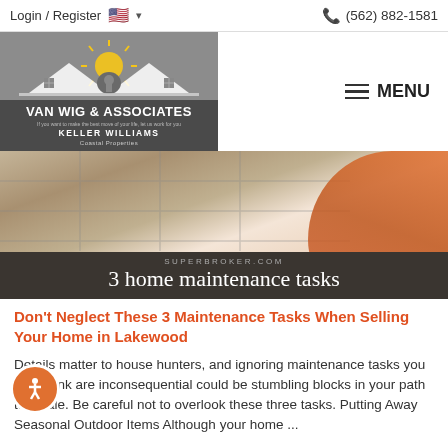Login / Register   (562) 882-1581
[Figure (logo): Van Wig & Associates Keller Williams Coastal Properties logo — white house/roof silhouettes with keyhole on gray background, company name in white text]
[Figure (photo): Hero image showing bathroom tile/shower area with person wearing orange clothing, overlaid with dark banner reading 'SUPERBROKER.COM' and '3 home maintenance tasks']
Don't Neglect These 3 Maintenance Tasks When Selling Your Home in Lakewood
Details matter to house hunters, and ignoring maintenance tasks you may think are inconsequential could be stumbling blocks in your path to a sale. Be careful not to overlook these three tasks. Putting Away Seasonal Outdoor Items Although your home ...